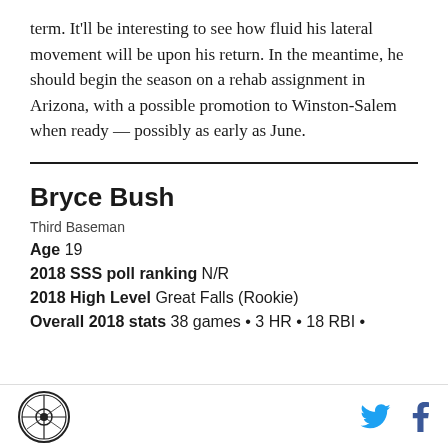term. It'll be interesting to see how fluid his lateral movement will be upon his return. In the meantime, he should begin the season on a rehab assignment in Arizona, with a possible promotion to Winston-Salem when ready — possibly as early as June.
Bryce Bush
Third Baseman
Age 19
2018 SSS poll ranking N/R
2018 High Level Great Falls (Rookie)
Overall 2018 stats 38 games • 3 HR • 18 RBI •
Logo and social icons (Twitter, Facebook)